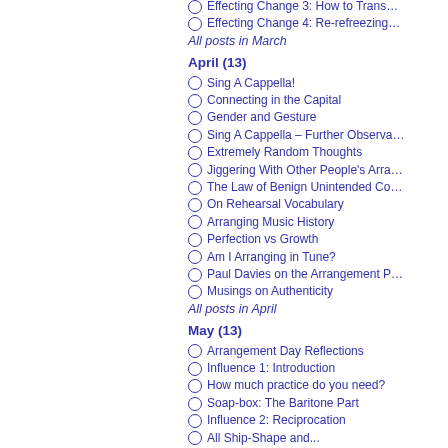Effecting Change 3: How to Trans…
Effecting Change 4: Re-refreezing…
All posts in March
April (13)
Sing A Cappella!
Connecting in the Capital
Gender and Gesture
Sing A Cappella – Further Observa…
Extremely Random Thoughts
Jiggering With Other People's Arra…
The Law of Benign Unintended Co…
On Rehearsal Vocabulary
Arranging Music History
Perfection vs Growth
Am I Arranging in Tune?
Paul Davies on the Arrangement P…
Musings on Authenticity
All posts in April
May (13)
Arrangement Day Reflections
Influence 1: Introduction
How much practice do you need?
Soap-box: The Baritone Part
Influence 2: Reciprocation
All Ship-Shape and...
End-of-Semester Reflections
Influence 3: Self-Consistency
Capital Re-Connection